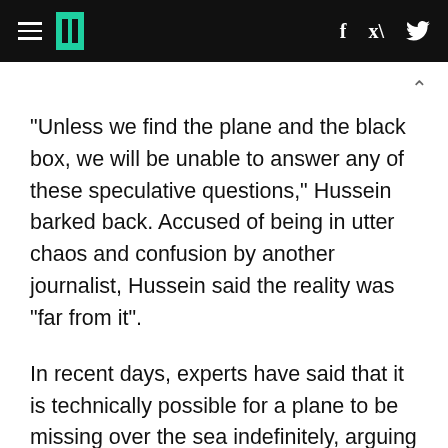HuffPost header with hamburger menu, logo, facebook and twitter icons
"Unless we find the plane and the black box, we will be unable to answer any of these speculative questions," Hussein barked back. Accused of being in utter chaos and confusion by another journalist, Hussein said the reality was "far from it".
In recent days, experts have said that it is technically possible for a plane to be missing over the sea indefinitely, arguing that GPS tracking and radar capabilities are not as extensive as widely thought.